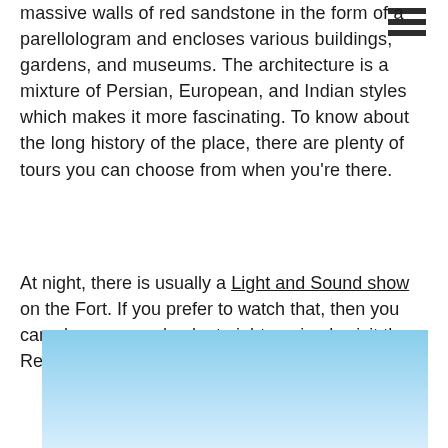massive walls of red sandstone in the form of a parellologram and encloses various buildings, gardens, and museums. The architecture is a mixture of Persian, European, and Indian styles which makes it more fascinating. To know about the long history of the place, there are plenty of tours you can choose from when you're there.
At night, there is usually a Light and Sound show on the Fort. If you prefer to watch that, then you can always come back at night or simply visit the Red Fort then.
[Figure (photo): A photo showing a light blue sky gradient, likely an outdoor photo of the Red Fort area.]